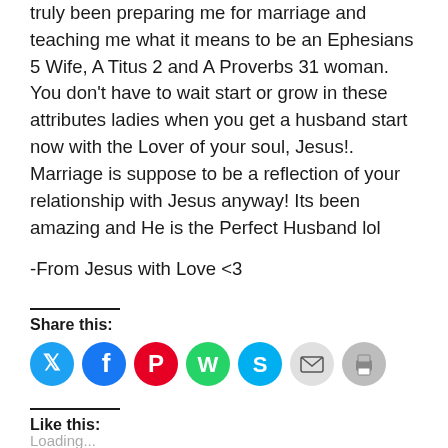truly been preparing me for marriage and teaching me what it means to be an Ephesians 5 Wife, A Titus 2 and A Proverbs 31 woman. You don't have to wait start or grow in these attributes ladies when you get a husband start now with the Lover of your soul, Jesus!. Marriage is suppose to be a reflection of your relationship with Jesus anyway! Its been amazing and He is the Perfect Husband lol
-From Jesus with Love <3
Share this:
[Figure (infographic): Social sharing icons: Twitter (blue), Facebook (blue), Pinterest (red), WhatsApp (green), Skype (blue), Email (light gray), Print (gray)]
Like this:
Loading...